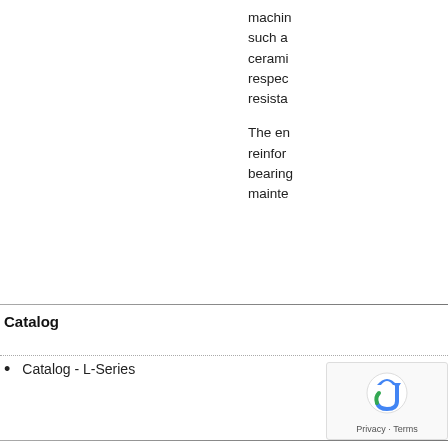machin... such a... cerami... respec... resista...
The en... reinfor... bearing... mainte...
Catalog
Catalog - L-Series
[Figure (logo): reCAPTCHA badge with Privacy and Terms text]